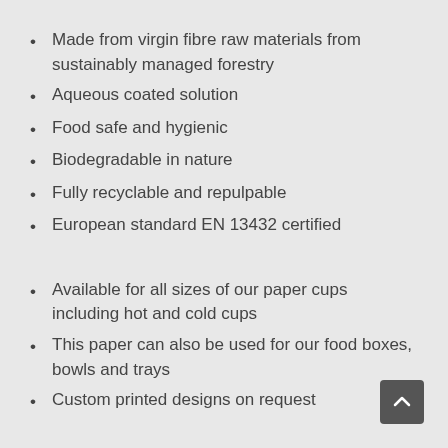Made from virgin fibre raw materials from sustainably managed forestry
Aqueous coated solution
Food safe and hygienic
Biodegradable in nature
Fully recyclable and repulpable
European standard EN 13432 certified
Available for all sizes of our paper cups including hot and cold cups
This paper can also be used for our food boxes, bowls and trays
Custom printed designs on request